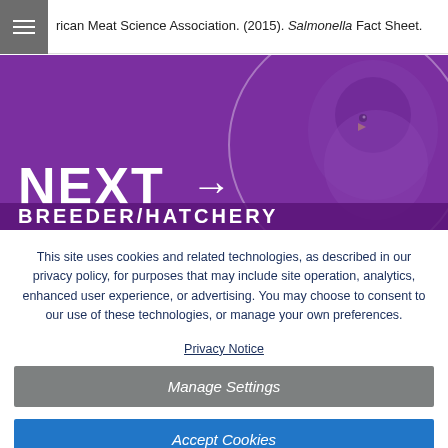rican Meat Science Association. (2015). Salmonella Fact Sheet.
[Figure (photo): Purple banner with a chick/duck photo overlay, large white text 'NEXT →' and partially visible text 'BREEDER/HATCHERY' at the bottom]
This site uses cookies and related technologies, as described in our privacy policy, for purposes that may include site operation, analytics, enhanced user experience, or advertising. You may choose to consent to our use of these technologies, or manage your own preferences.
Privacy Notice
Manage Settings
Accept Cookies